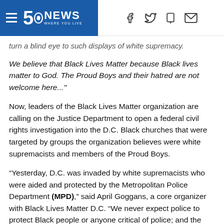5 News WHERE YOU LIVE
turn a blind eye to such displays of white supremacy.
We believe that Black Lives Matter because Black lives matter to God. The Proud Boys and their hatred are not welcome here..."
Now, leaders of the Black Lives Matter organization are calling on the Justice Department to open a federal civil rights investigation into the D.C. Black churches that were targeted by groups the organization believes were white supremacists and members of the Proud Boys.
“Yesterday, D.C. was invaded by white supremacists who were aided and protected by the Metropolitan Police Department (MPD),” said April Goggans, a core organizer with Black Lives Matter D.C. “We never expect police to protect Black people or anyone critical of police; and the people of D.C. need to be clear MPD physically protected white supremacists, as they threatened lives, damaged historic churches, and that was allowed and protected by MPD